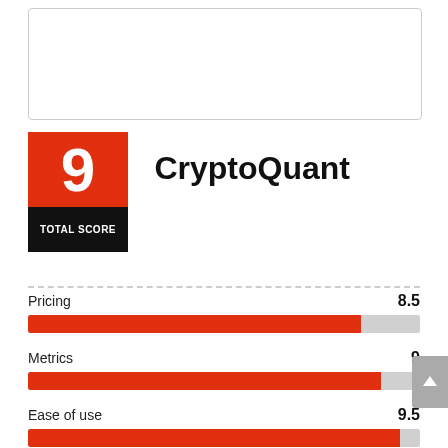[Figure (other): Empty white rounded rectangle box at top of page]
[Figure (infographic): Score badge showing '9' in red square over black 'TOTAL SCORE' label, next to CryptoQuant title]
CryptoQuant
[Figure (bar-chart): Scoring metrics for CryptoQuant]